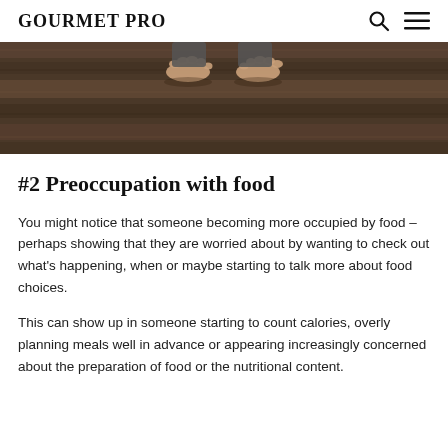GOURMET PRO
[Figure (photo): A photo showing bare feet of a person on a wooden floor, shot from above.]
#2 Preoccupation with food
You might notice that someone becoming more occupied by food – perhaps showing that they are worried about by wanting to check out what's happening, when or maybe starting to talk more about food choices.
This can show up in someone starting to count calories, overly planning meals well in advance or appearing increasingly concerned about the preparation of food or the nutritional content.